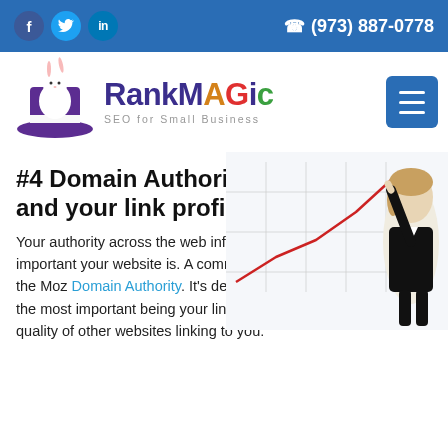f  in  (973) 887-0778
[Figure (logo): RankMagic logo with rabbit in top hat. Text: RankMagic SEO for Small Business]
#4 Domain Authority and your link profile
[Figure (illustration): Woman in business suit pointing at an upward trending line chart with grid background]
Your authority across the web informs Google about how important your website is. A commonly used measure of this is the Moz Domain Authority. It’s derived from a number of factors, the most important being your link profile: the number and quality of other websites linking to you.